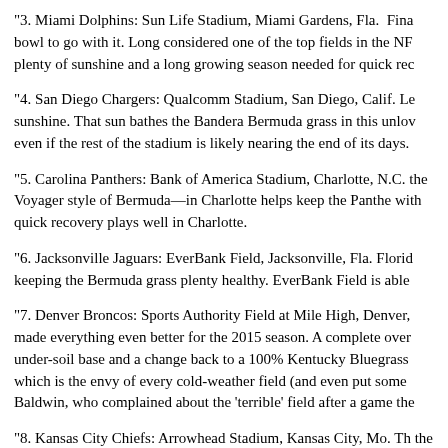"3. Miami Dolphins: Sun Life Stadium, Miami Gardens, Fla.  Fina bowl to go with it. Long considered one of the top fields in the NF plenty of sunshine and a long growing season needed for quick rec
"4. San Diego Chargers: Qualcomm Stadium, San Diego, Calif. Le sunshine. That sun bathes the Bandera Bermuda grass in this unlov even if the rest of the stadium is likely nearing the end of its days.
"5. Carolina Panthers: Bank of America Stadium, Charlotte, N.C. the Voyager style of Bermuda—in Charlotte helps keep the Panthe with quick recovery plays well in Charlotte.
"6. Jacksonville Jaguars: EverBank Field, Jacksonville, Fla. Florid keeping the Bermuda grass plenty healthy. EverBank Field is able
"7. Denver Broncos: Sports Authority Field at Mile High, Denver, made everything even better for the 2015 season. A complete over under-soil base and a change back to a 100% Kentucky Bluegrass which is the envy of every cold-weather field (and even put some Baldwin, who complained about the 'terrible' field after a game the
"8. Kansas City Chiefs: Arrowhead Stadium, Kansas City, Mo. Th the old-school Astroturf in 1994. It can be a tricky endeavor to kee balanced cold weather and warm-weather grass while staying all n